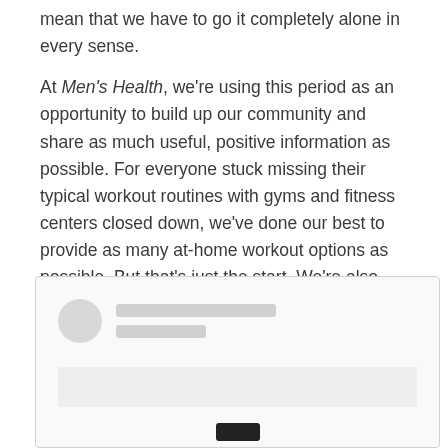mean that we have to go it completely alone in every sense.
At Men's Health, we're using this period as an opportunity to build up our community and share as much useful, positive information as possible. For everyone stuck missing their typical workout routines with gyms and fitness centers closed down, we've done our best to provide as many at-home workout options as possible. But that's just the start. We're also hosting live workout sessions on Instagram with some of our favorite trainers to fill the fitness class-shaped void in your daily routine.
[Figure (screenshot): An embedded social media post placeholder with a circular avatar, two placeholder text lines for username/handle, and a large grey content area below. A small dark play/action button appears at the bottom center.]